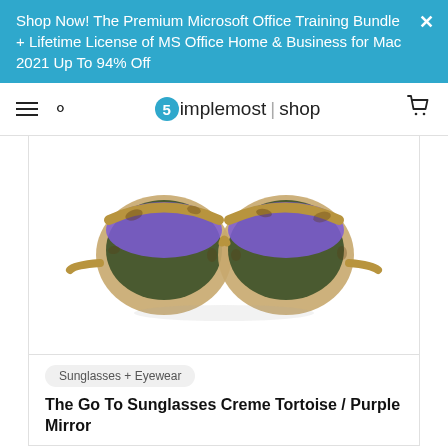Shop Now! The Premium Microsoft Office Training Bundle + Lifetime License of MS Office Home & Business for Mac 2021 Up To 94% Off
Simplemost | shop
[Figure (photo): Pair of sunglasses with creme tortoise patterned frame and purple/green mirror lenses, shown on white background]
Sunglasses + Eyewear
The Go To Sunglasses Creme Tortoise / Purple Mirror